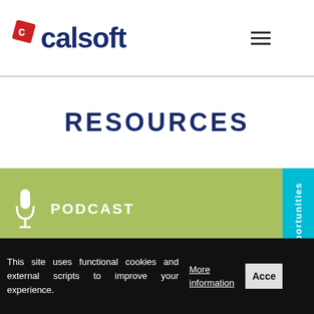calsoft
RESOURCES
PODCAST
Sorry, no posts were found.
This site uses functional cookies and external scripts to improve your experience.
More information
Accept
Current Opportunities